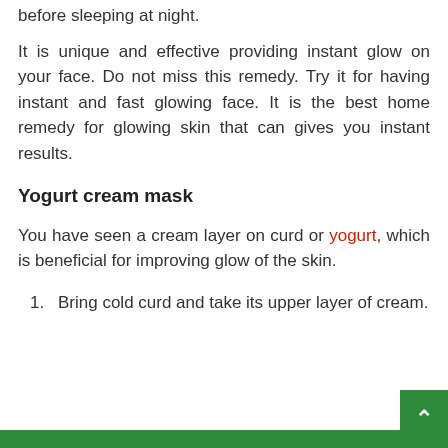before sleeping at night.
It is unique and effective providing instant glow on your face. Do not miss this remedy. Try it for having instant and fast glowing face. It is the best home remedy for glowing skin that can gives you instant results.
Yogurt cream mask
You have seen a cream layer on curd or yogurt, which is beneficial for improving glow of the skin.
Bring cold curd and take its upper layer of cream.